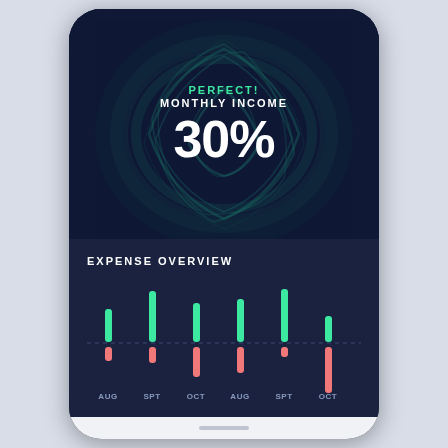PERFECT!
MONTHLY INCOME
30%
EXPENSE OVERVIEW
[Figure (bar-chart): Expense Overview]